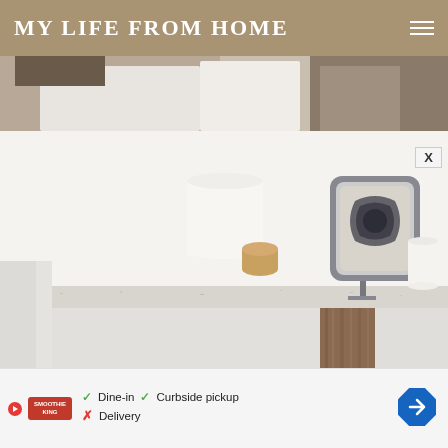MY LIFE FROM HOME
[Figure (photo): Top portion of a photo showing a person wearing white clothing against a white/wood background, partially cropped]
[Figure (photo): A white shelf with a wooden-capped candle/cylinder object and a decorative square framed mirror/picture with dark ornate design, sitting on a concrete-look shelf surface with wood cabinet below]
[Figure (other): Advertisement banner for Smoothie King showing: Dine-in (check), Curbside pickup (check), Delivery (cross), with navigation arrow icon on right]